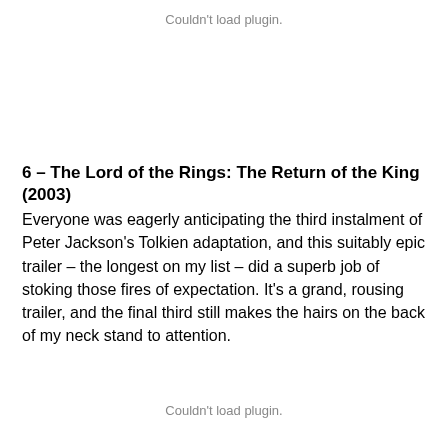[Figure (other): Plugin placeholder showing 'Couldn't load plugin.' message at top of page]
6 – The Lord of the Rings: The Return of the King (2003)
Everyone was eagerly anticipating the third instalment of Peter Jackson's Tolkien adaptation, and this suitably epic trailer – the longest on my list – did a superb job of stoking those fires of expectation. It's a grand, rousing trailer, and the final third still makes the hairs on the back of my neck stand to attention.
[Figure (other): Plugin placeholder showing 'Couldn't load plugin.' message at bottom of page]